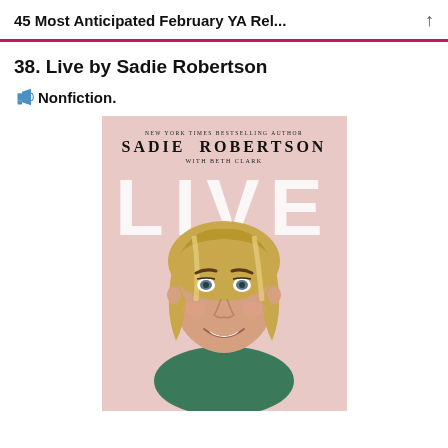45 Most Anticipated February YA Rel...
38. Live by Sadie Robertson
📣Nonfiction.
[Figure (photo): Book cover for 'Live' by Sadie Robertson with Beth Clark. Pink background with large white 'LIVE' text and photo of smiling blonde woman. Text reads: NEW YORK TIMES BESTSELLING AUTHOR SADIE ROBERTSON with BETH CLARK]